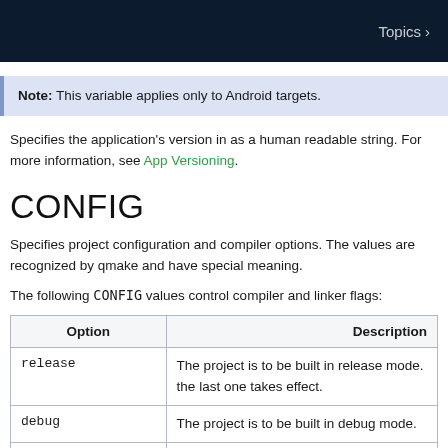Topics >
Note: This variable applies only to Android targets.
Specifies the application's version in as a human readable string. For more information, see App Versioning.
CONFIG
Specifies project configuration and compiler options. The values are recognized by qmake and have special meaning.
The following CONFIG values control compiler and linker flags:
| Option | Description |
| --- | --- |
| release | The project is to be built in release mode. If this is also specified with debug, the last one takes effect. |
| debug | The project is to be built in debug mode. |
| debug_and_release | The project is prepared to be built in both... |